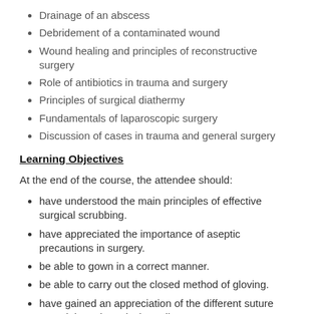Drainage of an abscess
Debridement of a contaminated wound
Wound healing and principles of reconstructive surgery
Role of antibiotics in trauma and surgery
Principles of surgical diathermy
Fundamentals of laparoscopic surgery
Discussion of cases in trauma and general surgery
Learning Objectives
At the end of the course, the attendee should:
have understood the main principles of effective surgical scrubbing.
have appreciated the importance of aseptic precautions in surgery.
be able to gown in a correct manner.
be able to carry out the closed method of gloving.
have gained an appreciation of the different suture materials and surgical needles.
be able to institute local anaesthesia in a safe and efficient manner.
be able to...